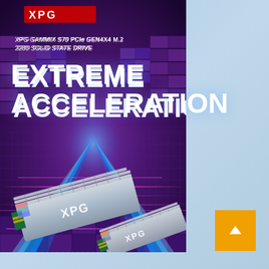[Figure (photo): XPG GAMMIX S70 PCIe GEN4X4 M.2 2280 Solid State Drive product advertisement image. Dark purple/violet background with neon blue light beams forming a triangular tunnel effect. Two silver SSD drives with XPG branding shown in foreground. Red XPG logo at top. Text overlay: 'XPG GAMMIX S70 PCIe GEN4X4 M.2 2280 SOLID STATE DRIVE' and large white bold text 'EXTREME ACCELERATION'.]
EXTREME ACCELERATION
XPG GAMMIX S70 PCIe GEN4X4 M.2 2280 SOLID STATE DRIVE